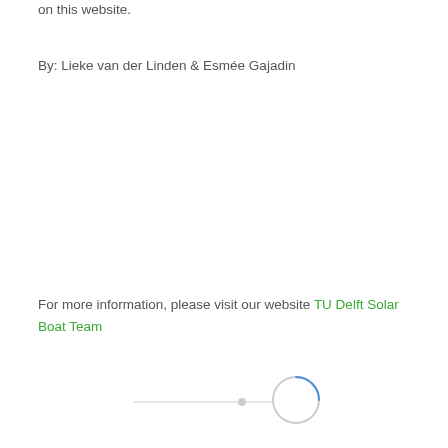on this website.
By: Lieke van der Linden & Esmée Gajadin
For more information, please visit our website TU Delft Solar Boat Team
[Figure (other): Loading spinner UI element with a horizontal line, a small dot, and a circular spinner partially filled with blue, indicating a loading state.]